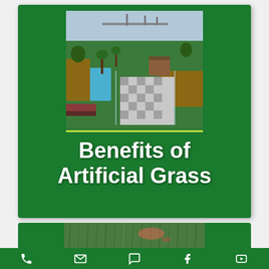[Figure (photo): Aerial view of a luxury property with artificial grass, a swimming pool, checkerboard stone patio, glass railings, wooden decking, and a waterfront with docks in the background]
Benefits of Artificial Grass
[Figure (photo): Close-up of artificial grass with blurred foreground showing pink/orange organic objects on the green turf]
Phone | Email | Chat | Facebook | YouTube